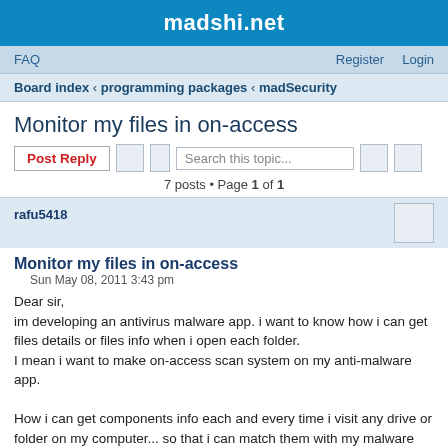madshi.net
FAQ   Register   Login
Board index ‹ programming packages ‹ madSecurity
Monitor my files in on-access
Post Reply   Search this topic...   7 posts • Page 1 of 1
rafu5418
Monitor my files in on-access
Sun May 08, 2011 3:43 pm
Dear sir,
im developing an antivirus malware app. i want to know how i can get files details or files info when i open each folder.
I mean i want to make on-access scan system on my anti-malware app.

How i can get components info each and every time i visit any drive or folder on my computer... so that i can match them with my malware database.